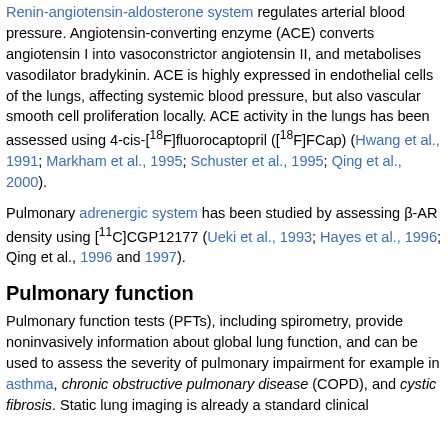Renin-angiotensin-aldosterone system regulates arterial blood pressure. Angiotensin-converting enzyme (ACE) converts angiotensin I into vasoconstrictor angiotensin II, and metabolises vasodilator bradykinin. ACE is highly expressed in endothelial cells of the lungs, affecting systemic blood pressure, but also vascular smooth cell proliferation locally. ACE activity in the lungs has been assessed using 4-cis-[18F]fluorocaptopril ([18F]FCap) (Hwang et al., 1991; Markham et al., 1995; Schuster et al., 1995; Qing et al., 2000).
Pulmonary adrenergic system has been studied by assessing β-AR density using [11C]CGP12177 (Ueki et al., 1993; Hayes et al., 1996; Qing et al., 1996 and 1997).
Pulmonary function
Pulmonary function tests (PFTs), including spirometry, provide noninvasively information about global lung function, and can be used to assess the severity of pulmonary impairment for example in asthma, chronic obstructive pulmonary disease (COPD), and cystic fibrosis. Static lung imaging is already a standard clinical